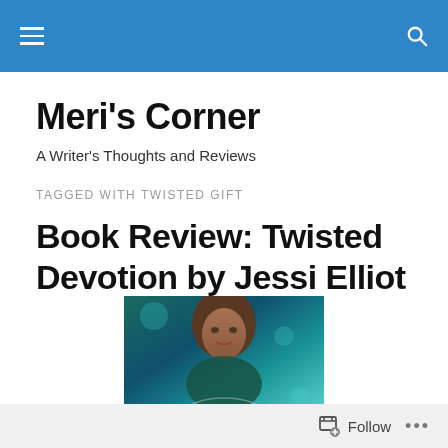Navigation bar with menu and search icons
Meri's Corner
A Writer's Thoughts and Reviews
TAGGED WITH TWISTED GIFT
Book Review: Twisted Devotion by Jessi Elliot
[Figure (photo): Book cover image showing a woman with red hair in teal/green tones]
Follow ...